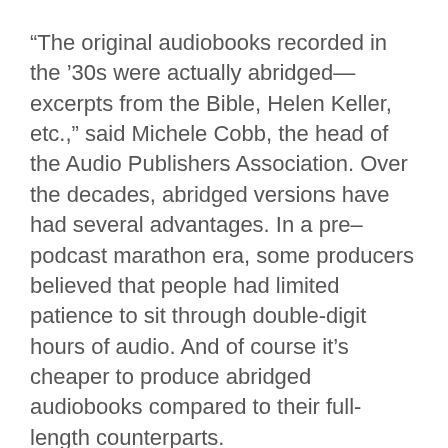“The original audiobooks recorded in the ’30s were actually abridged—excerpts from the Bible, Helen Keller, etc.,” said Michele Cobb, the head of the Audio Publishers Association. Over the decades, abridged versions have had several advantages. In a pre–podcast marathon era, some producers believed that people had limited patience to sit through double-digit hours of audio. And of course it’s cheaper to produce abridged audiobooks compared to their full-length counterparts.
In an entertainingly unfiltered interview for the Audiobook History blog, Henry Trentman, who founded Recorded Books Inc in 1978, says: “The major publishers were concerned about time because they had to sell these things and to sell two tapes for 14 bucks was a lot easier than selling 14 tapes for $100. It wasn’t a book store item.”